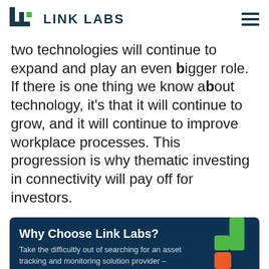LINK LABS
two technologies will continue to expand and play an even bigger role. If there is one thing we know about technology, it's that it will continue to grow, and it will continue to improve workplace processes. This progression is why thematic investing in connectivity will pay off for investors.
[Figure (infographic): Link Labs promotional banner with dark navy background showing 'Why Choose Link Labs?' heading, descriptive text about asset tracking, a green italic link 'See what sets Link Labs apart', an orange BOOK DEMO button, decorative colored shapes on the right, and a chat bubble icon.]